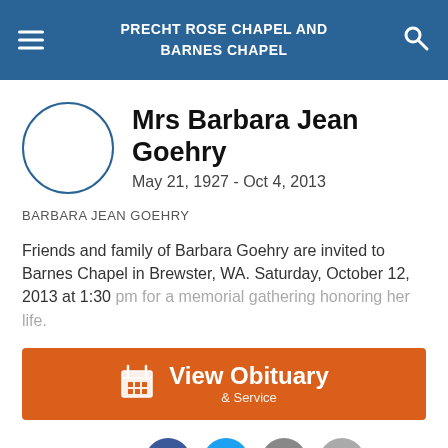PRECHT ROSE CHAPEL AND BARNES CHAPEL
Mrs Barbara Jean Goehry
May 21, 1927 - Oct 4, 2013
BARBARA JEAN GOEHRY
Friends and family of Barbara Goehry are invited to Barnes Chapel in Brewster, WA. Saturday, October 12, 2013 at 1:30 pm for a memorial gathering honoring her life.
View Obituary & Service
Share